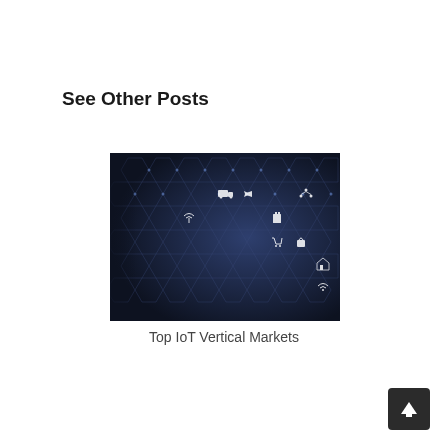See Other Posts
[Figure (illustration): Dark hexagonal pattern background with white IoT-related icons including airplane, truck, shopping cart, lock, wifi, satellite, factory, and other connected device symbols arranged in a honeycomb grid pattern]
Top IoT Vertical Markets